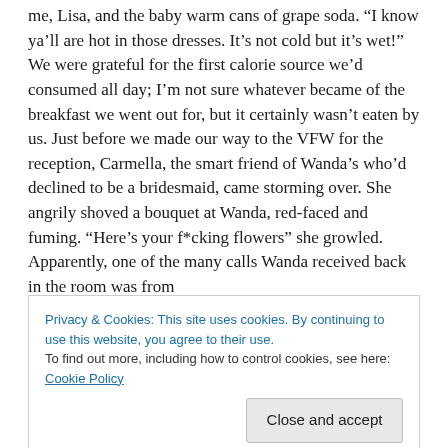me, Lisa, and the baby warm cans of grape soda. “I know ya’ll are hot in those dresses. It’s not cold but it’s wet!” We were grateful for the first calorie source we’d consumed all day; I’m not sure whatever became of the breakfast we went out for, but it certainly wasn’t eaten by us. Just before we made our way to the VFW for the reception, Carmella, the smart friend of Wanda’s who’d declined to be a bridesmaid, came storming over. She angrily shoved a bouquet at Wanda, red-faced and fuming. “Here’s your f*cking flowers” she growled. Apparently, one of the many calls Wanda received back in the room was from
Privacy & Cookies: This site uses cookies. By continuing to use this website, you agree to their use.
To find out more, including how to control cookies, see here: Cookie Policy
missing because it had been snatched from her hands and